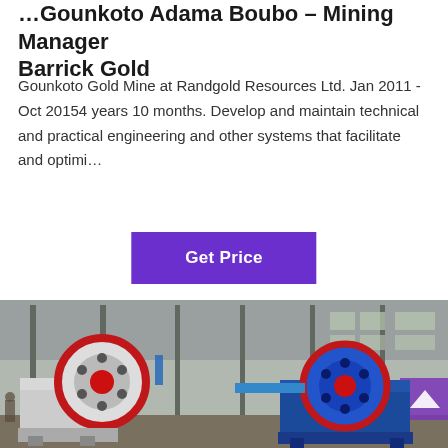…Gounkoto Adama Boubo – Mining Manager Barrick Gold
Gounkoto Gold Mine at Randgold Resources Ltd. Jan 2011 - Oct 20154 years 10 months. Develop and maintain technical and practical engineering and other systems that facilitate and optimi…
[Figure (other): Purple 'Get Price' button]
[Figure (photo): Industrial factory floor with large jaw crusher machines: a white-and-red flywheel crusher on the left and a blue-and-red crusher on the right, inside a large warehouse with steel columns and windows.]